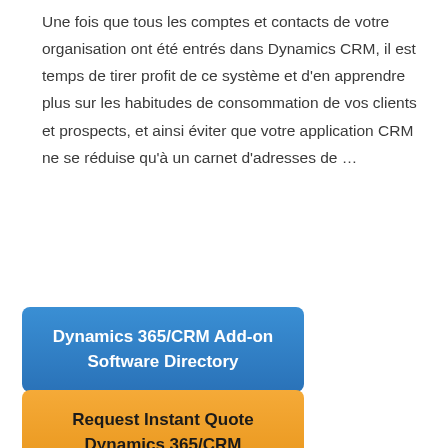Une fois que tous les comptes et contacts de votre organisation ont été entrés dans Dynamics CRM, il est temps de tirer profit de ce système et d'en apprendre plus sur les habitudes de consommation de vos clients et prospects, et ainsi éviter que votre application CRM ne se réduise qu'à un carnet d'adresses de …
Read More »
[Figure (other): Blue button with text: Dynamics 365/CRM Add-on Software Directory]
[Figure (other): Orange button with text: Request Instant Quote Dynamics 365/CRM]